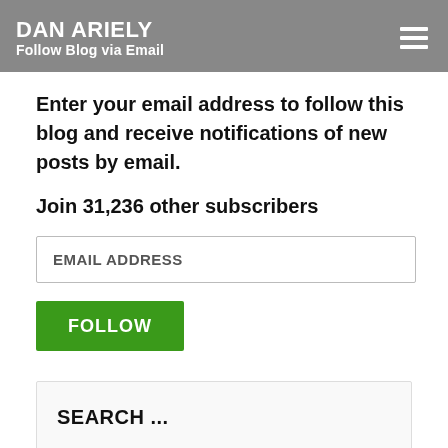DAN ARIELY
Follow Blog via Email
Enter your email address to follow this blog and receive notifications of new posts by email.
Join 31,236 other subscribers
EMAIL ADDRESS
FOLLOW
SEARCH ...